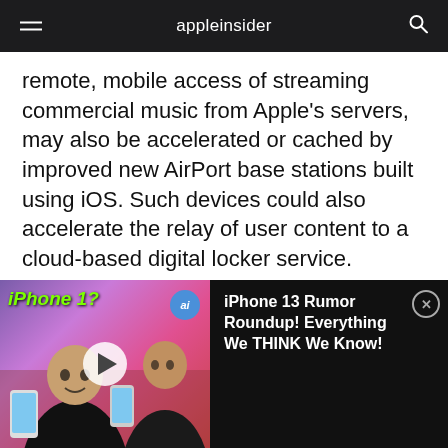appleinsider
remote, mobile access of streaming commercial music from Apple's servers, may also be accelerated or cached by improved new AirPort base stations built using iOS. Such devices could also accelerate the relay of user content to a cloud-based digital locker service.
New base stations could also conceptually save copies of Time Machine backups to a user's cloud storage, or sync specific types of
[Figure (screenshot): Video banner at bottom of screen showing a man holding iPhones with text 'iPhone 1?' and an AI badge, with title 'iPhone 13 Rumor Roundup! Everything We THINK We Know!' on dark background with a close button.]